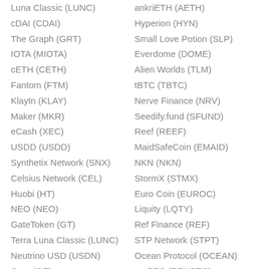Luna Classic (LUNC)
cDAI (CDAI)
The Graph (GRT)
IOTA (MIOTA)
cETH (CETH)
Fantom (FTM)
Klaytn (KLAY)
Maker (MKR)
eCash (XEC)
USDD (USDD)
Synthetix Network (SNX)
Celsius Network (CEL)
Huobi (HT)
NEO (NEO)
GateToken (GT)
Terra Luna Classic (LUNC)
Neutrino USD (USDN)
Gate (GT)
THORChain (RUNE)
ankriETH (AETH)
Hyperion (HYN)
Small Love Potion (SLP)
Everdome (DOME)
Alien Worlds (TLM)
tBTC (TBTC)
Nerve Finance (NRV)
Seedify.fund (SFUND)
Reef (REEF)
MaidSafeCoin (EMAID)
NKN (NKN)
StormX (STMX)
Euro Coin (EUROC)
Liquity (LQTY)
Ref Finance (REF)
STP Network (STPT)
Ocean Protocol (OCEAN)
renBTC (RENBTC)
Shentu (CTK)